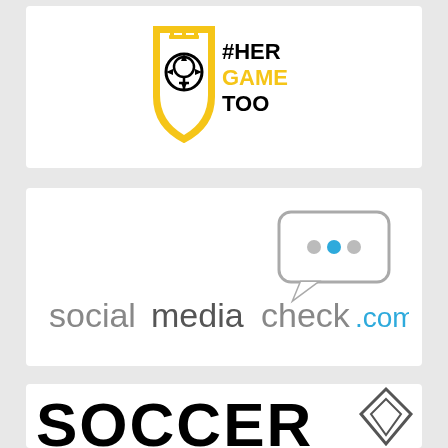[Figure (logo): #HerGameToo logo: yellow shield with female/soccer symbol and text #HER GAME TOO in bold black]
[Figure (logo): socialmediacheck.com logo: speech bubble icon with dots and blue circle, text 'socialmediacheck.com' in grey and blue]
[Figure (logo): Partial SOCCER logo in heavy black text with a diamond/shield emblem on the right, partially cut off at bottom]